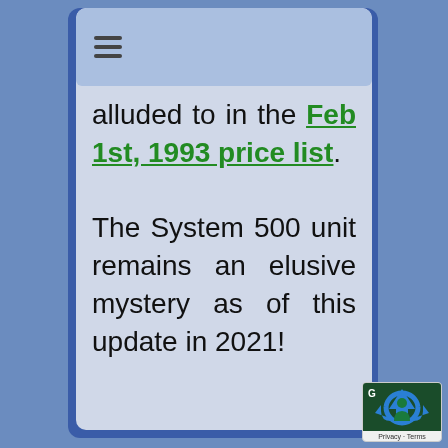[Figure (screenshot): Mobile browser screenshot showing a navigation bar with hamburger menu icon at top, followed by body text reading 'alluded to in the Feb 1st, 1993 price list. The System 500 unit remains an elusive mystery as of this update in 2021!' with the hyperlink text in bold green. A Google privacy badge is in the bottom-right corner.]
alluded to in the Feb 1st, 1993 price list. The System 500 unit remains an elusive mystery as of this update in 2021!